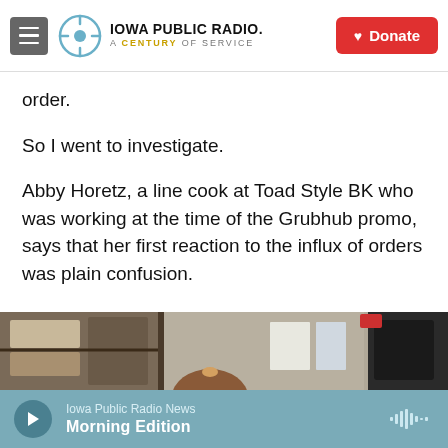Iowa Public Radio. A Century of Service. Donate.
order.
So I went to investigate.
Abby Horetz, a line cook at Toad Style BK who was working at the time of the Grubhub promo, says that her first reaction to the influx of orders was plain confusion.
[Figure (photo): A person working in a kitchen, viewed from behind/above, with stainless steel shelves and food containers visible.]
Iowa Public Radio News — Morning Edition (audio player bar)